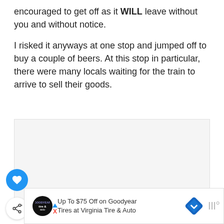encouraged to get off as it WILL leave without you and without notice.
I risked it anyways at one stop and jumped off to buy a couple of beers. At this stop in particular, there were many locals waiting for the train to arrive to sell their goods.
[Figure (photo): Image placeholder area with light gray background]
[Figure (other): Advertisement banner: Up To $75 Off on Goodyear Tires at Virginia Tire & Auto, with Goodyear auto logo and navigation arrow icon]